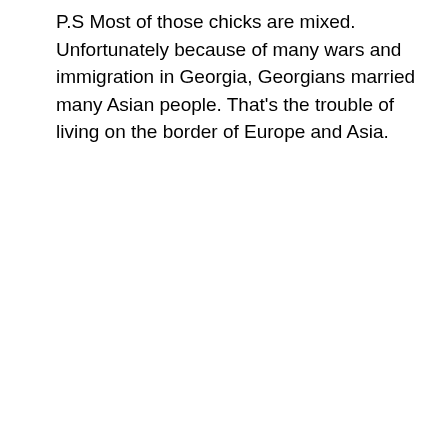P.S Most of those chicks are mixed. Unfortunately because of many wars and immigration in Georgia, Georgians married many Asian people. That's the trouble of living on the border of Europe and Asia.